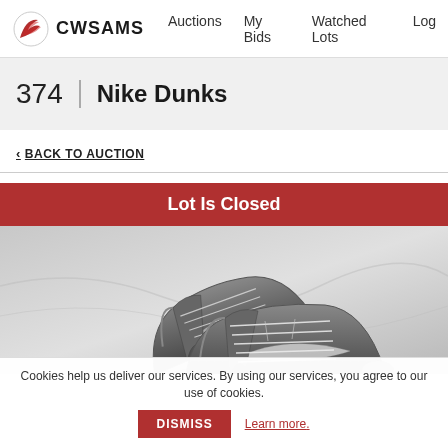CWSAMS | Auctions | My Bids | Watched Lots | Log
374 | Nike Dunks
< BACK TO AUCTION
Lot Is Closed
[Figure (photo): Black and white photograph of Nike Dunk sneakers placed on a light grey background.]
Cookies help us deliver our services. By using our services, you agree to our use of cookies. DISMISS Learn more.